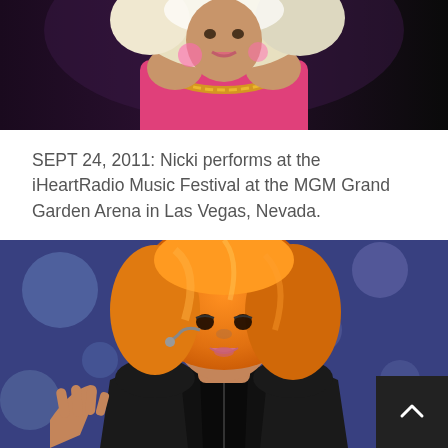[Figure (photo): Performer in pink top with large gold chain necklace and blonde/white hair, cropped to show upper body against dark background]
SEPT 24, 2011: Nicki performs at the iHeartRadio Music Festival at the MGM Grand Garden Arena in Las Vegas, Nevada.
[Figure (photo): Performer with bright orange hair wearing a black outfit, holding up one hand, with a headset microphone, performing on stage with blurred blue stage lighting in background]